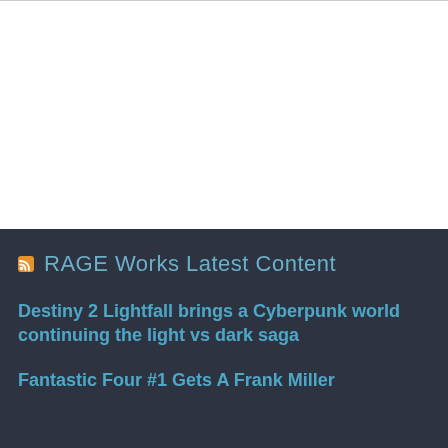RAGE Works Latest Content
Destiny 2 Lightfall brings a Cyberpunk world continuing the light vs dark saga
Fantastic Four #1 Gets A Frank Miller